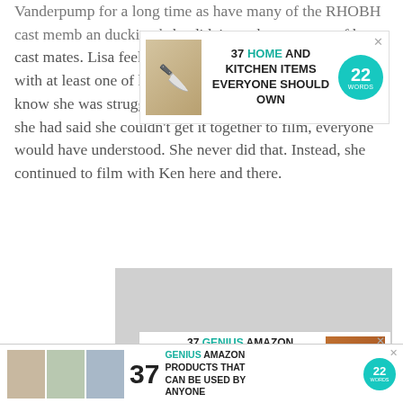Vanderpump for a long time as have many of the RHOBH cast members an ducking ed she didn't reach out to any of her cast mates. Lisa feels that LVP should have gotten in touch with at least one of her friends on the show. Or let them know she was struggling and needed a leave of absence. If she had said she couldn't get it together to film, everyone would have understood. She never did that. Instead, she continued to film with Ken here and there.
[Figure (screenshot): Advertisement banner: 37 HOME AND KITCHEN ITEMS EVERYONE SHOULD OWN - 22 Words]
[Figure (screenshot): Gray placeholder advertisement box]
[Figure (screenshot): Advertisement banner: 37 GENIUS AMAZON PRODUCTS THAT CAN BE USED BY ANYONE - 22 Words with CLOSE button]
[Figure (screenshot): Bottom strip advertisement: 37 GENIUS AMAZON PRODUCTS THAT CAN BE USED BY ANYONE - 22 Words]